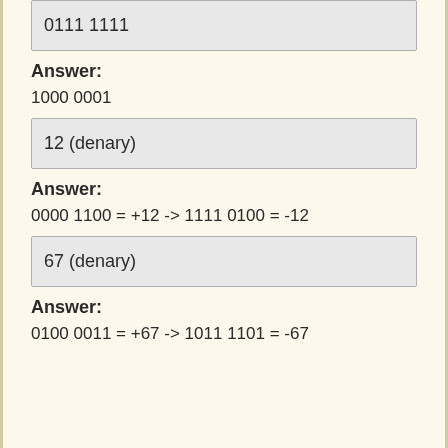0111 1111
Answer:
1000 0001
12 (denary)
Answer:
0000 1100 = +12 -> 1111 0100 = -12
67 (denary)
Answer:
0100 0011 = +67 -> 1011 1101 = -67